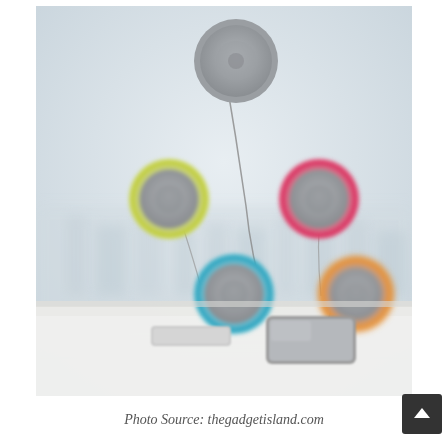[Figure (photo): Five colorful circular suction-cup speakers (grey, yellow-green, pink, blue, orange) attached to a glass window with cables connected to a smartphone and a portable battery on a white surface, with a blurred city skyline in the background.]
Photo Source: thegadgetisland.com